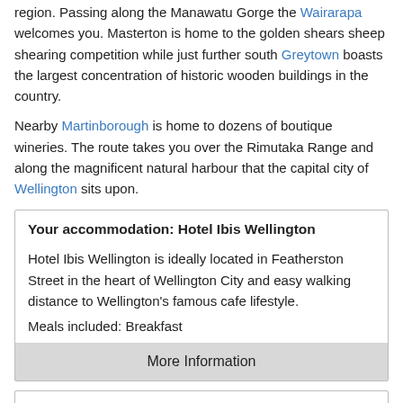region. Passing along the Manawatu Gorge the Wairarapa welcomes you. Masterton is home to the golden shears sheep shearing competition while just further south Greytown boasts the largest concentration of historic wooden buildings in the country.
Nearby Martinborough is home to dozens of boutique wineries. The route takes you over the Rimutaka Range and along the magnificent natural harbour that the capital city of Wellington sits upon.
Your accommodation: Hotel Ibis Wellington

Hotel Ibis Wellington is ideally located in Featherston Street in the heart of Wellington City and easy walking distance to Wellington's famous cafe lifestyle.
Meals included: Breakfast
[More Information]
Driving distance and time (approximate) for this leg: 322 kms